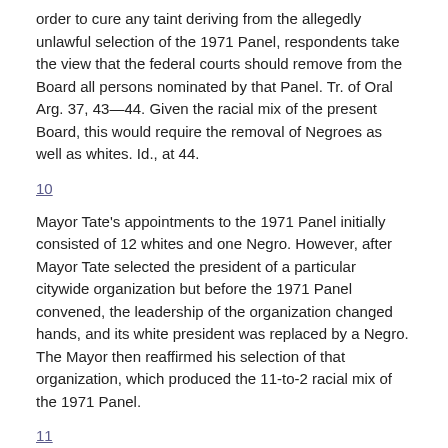order to cure any taint deriving from the allegedly unlawful selection of the 1971 Panel, respondents take the view that the federal courts should remove from the Board all persons nominated by that Panel. Tr. of Oral Arg. 37, 43—44. Given the racial mix of the present Board, this would require the removal of Negroes as well as whites. Id., at 44.
10
Mayor Tate's appointments to the 1971 Panel initially consisted of 12 whites and one Negro. However, after Mayor Tate selected the president of a particular citywide organization but before the 1971 Panel convened, the leadership of the organization changed hands, and its white president was replaced by a Negro. The Mayor then reaffirmed his selection of that organization, which produced the 11-to-2 racial mix of the 1971 Panel.
11
The Court of Appeals held that the Nominating Panel is not a 'person' within the meaning of 42 U.S.C. § 1983, and it therefore affirmed the District Court's dismissal of the complaint as to the Panel. 472 F.2d, at 614 nn. 1 and 4. Respondents do not seek review of this holding, and